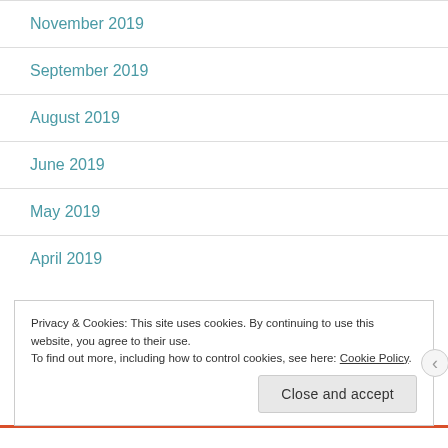November 2019
September 2019
August 2019
June 2019
May 2019
April 2019
Privacy & Cookies:  This site uses cookies.  By continuing to use this website, you agree to their use.
To find out more, including how to control cookies, see here: Cookie Policy
Close and accept